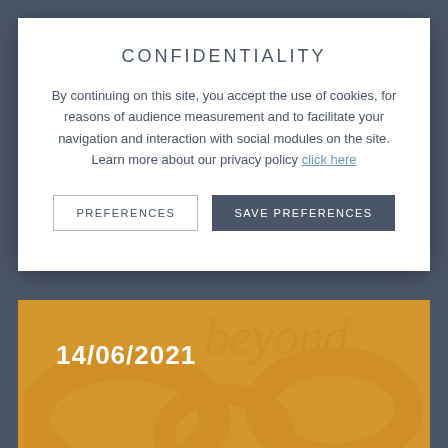CONFIDENTIALITY
By continuing on this site, you accept the use of cookies, for reasons of audience measurement and to facilitate your navigation and interaction with social modules on the site. Learn more about our privacy policy click here
PREFERENCES   SAVE PREFERENCES
14/06/2021